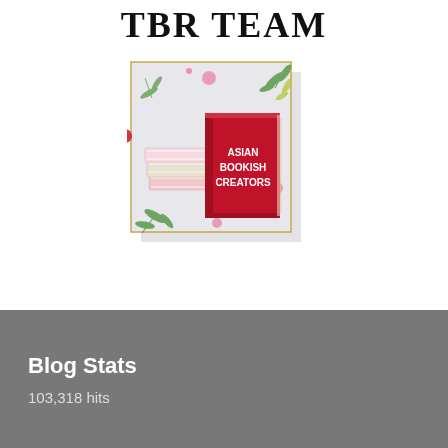TBR TEAM
[Figure (illustration): Asian Bookish Creators logo: stacked books illustration with a red book in front labeled 'ASIAN BOOKISH CREATORS', surrounded by green leaves, pink dots, on a light grey background with a thin gold border.]
Blog Stats
103,318 hits